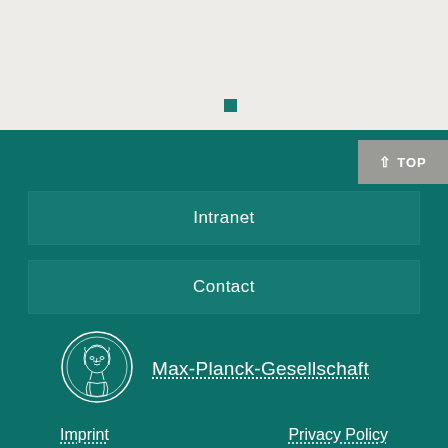[Figure (logo): Small teal/green square decorative element in the light gray section]
Intranet
Contact
[Figure (logo): Max-Planck-Gesellschaft circular medallion logo with classical portrait, white outline on teal background]
Max-Planck-Gesellschaft
Imprint
Privacy Policy
© 2022, Max-Planck-Gesellschaft